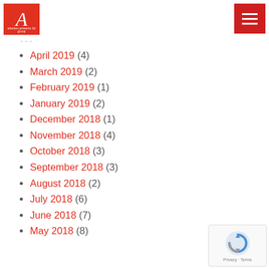[Figure (logo): Red square logo with italic letter A and small text beneath]
[Figure (other): Red hamburger menu button with three white horizontal lines]
… (truncated link text)
April 2019 (4)
March 2019 (2)
February 2019 (1)
January 2019 (2)
December 2018 (1)
November 2018 (4)
October 2018 (3)
September 2018 (3)
August 2018 (2)
July 2018 (6)
June 2018 (7)
May 2018 (8)
[Figure (other): reCAPTCHA badge with blue icon and Privacy - Terms text]